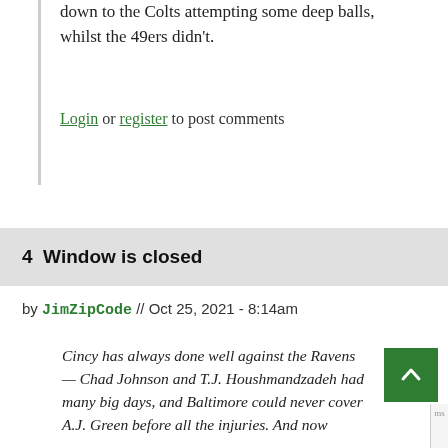down to the Colts attempting some deep balls, whilst the 49ers didn't.
Login or register to post comments
4  Window is closed
by JimZipCode // Oct 25, 2021 - 8:14am
Cincy has always done well against the Ravens — Chad Johnson and T.J. Houshmandzadeh had many big days, and Baltimore could never cover A.J. Green before all the injuries. And now